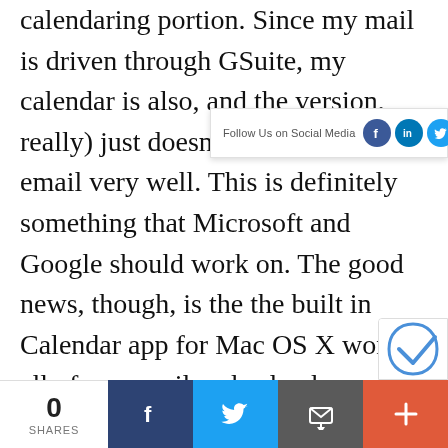calendaring portion. Since my mail is driven through GSuite, my calendar is also, and the version, really) just doesn't handle Google's email very well. This is definitely something that Microsoft and Google should work on. The good news, though, is the the built in Calendar app for Mac OS X works all of my email and calendars really well, and I've not had any issues with using that.
[Figure (infographic): Follow Us on Social Media bar with Facebook, LinkedIn, and Twitter icons]
[Figure (infographic): Bottom share bar with share count 0, Facebook share button, Twitter share button, email button, and plus button]